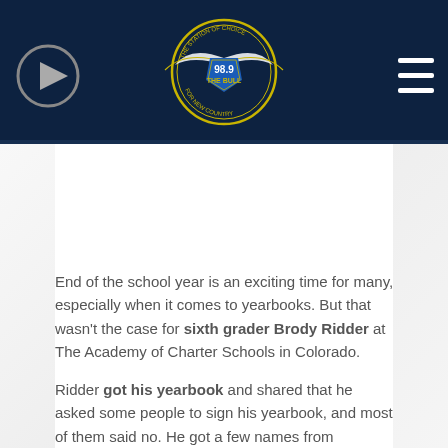[Figure (logo): 98.9 The Bull radio station logo — circular badge with eagle wings, blue and gold coloring, on a dark navy header bar with a play button on the left and hamburger menu on the right]
End of the school year is an exciting time for many, especially when it comes to yearbooks. But that wasn't the case for sixth grader Brody Ridder at The Academy of Charter Schools in Colorado.
Ridder got his yearbook and shared that he asked some people to sign his yearbook, and most of them said no. He got a few names from classmates and two notes from his teachers.